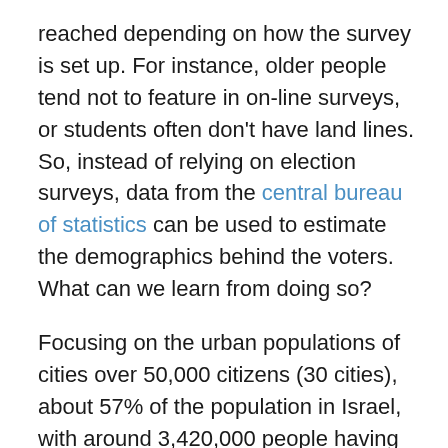reached depending on how the survey is set up. For instance, older people tend not to feature in on-line surveys, or students often don't have land lines. So, instead of relying on election surveys, data from the central bureau of statistics can be used to estimate the demographics behind the voters. What can we learn from doing so?
Focusing on the urban populations of cities over 50,000 citizens (30 cities), about 57% of the population in Israel, with around 3,420,000 people having the right to vote. 67.2% of them actually voted. Three of these cities are predominantly of Arab residents (Arab cities from here on; Umm Al-Fahm, Nazareth and Rahat), where 62.3% of those with the right to vote actually voted. In contrast, three other cities are predominantly of ultra-orthodox Jews